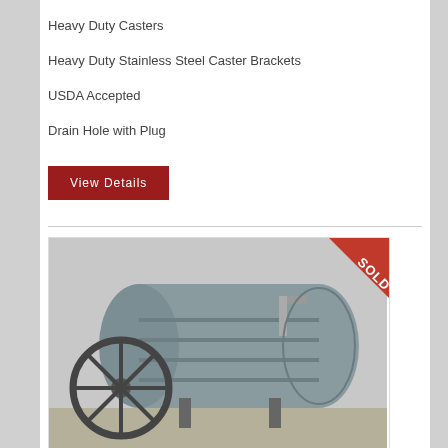Heavy Duty Casters
Heavy Duty Stainless Steel Caster Brackets
USDA Accepted
Drain Hole with Plug
View Details
[Figure (photo): FMC JBT Sterilmatic Pressure Cooler Shell industrial equipment lying on its side outdoors, with a large wheel visible. A red SOLD ribbon banner is overlaid on the top-right corner of the image.]
FMC JBT Sterilmatic Pressure Cooler Shell 300 X 407